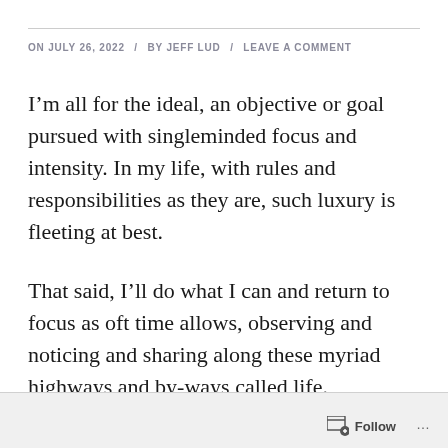ON JULY 26, 2022 / BY JEFF LUD / LEAVE A COMMENT
I’m all for the ideal, an objective or goal pursued with singleminded focus and intensity. In my life, with rules and responsibilities as they are, such luxury is fleeting at best.
That said, I’ll do what I can and return to focus as oft time allows, observing and noticing and sharing along these myriad highways and by-ways called life.
Follow ...